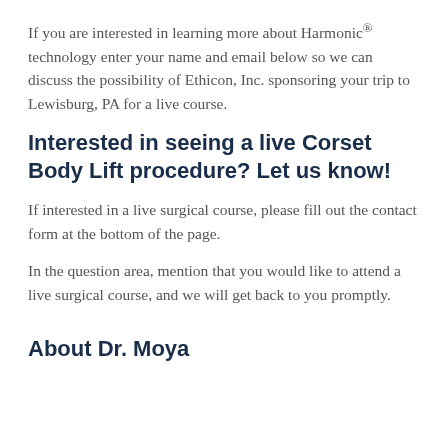If you are interested in learning more about Harmonic® technology enter your name and email below so we can discuss the possibility of Ethicon, Inc. sponsoring your trip to Lewisburg, PA for a live course.
Interested in seeing a live Corset Body Lift procedure? Let us know!
If interested in a live surgical course, please fill out the contact form at the bottom of the page.
In the question area, mention that you would like to attend a live surgical course, and we will get back to you promptly.
About Dr. Moya